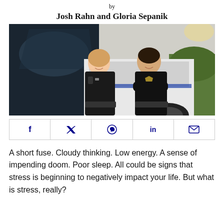by
Josh Rahn and Gloria Sepanik
[Figure (photo): Two police officers in dark uniforms smiling in front of a police vehicle. A female officer on the left leans against the car, a male officer on the right stands with arms crossed.]
[Figure (infographic): Social media share bar with icons for Facebook, Twitter, WhatsApp, LinkedIn, and Email]
A short fuse. Cloudy thinking. Low energy. A sense of impending doom. Poor sleep. All could be signs that stress is beginning to negatively impact your life. But what is stress, really?